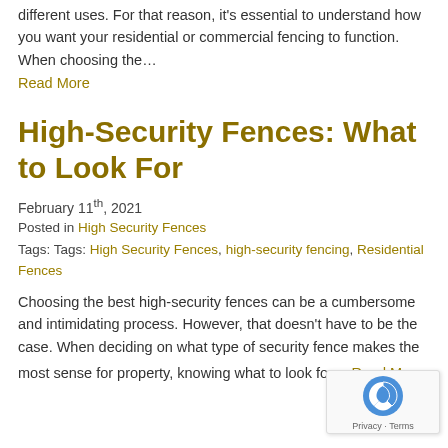different uses. For that reason, it's essential to understand how you want your residential or commercial fencing to function. When choosing the… Read More
High-Security Fences: What to Look For
February 11th, 2021
Posted in High Security Fences
Tags: Tags: High Security Fences, high-security fencing, Residential Fences
Choosing the best high-security fences can be a cumbersome and intimidating process. However, that doesn't have to be the case. When deciding on what type of security fence makes the most sense for property, knowing what to look for… Read More